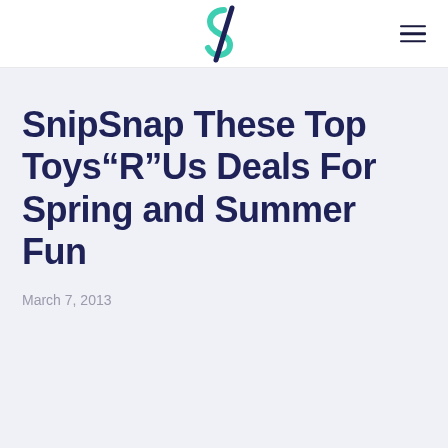SnipSnap logo and navigation
SnipSnap These Top Toys“R”Us Deals For Spring and Summer Fun
March 7, 2013